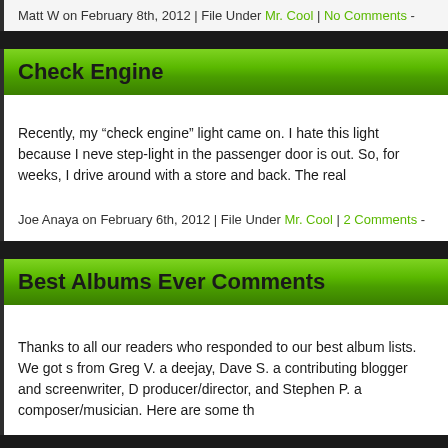Matt W on February 8th, 2012 | File Under Mr. Cool | No Comments -
Check Engine
Recently, my “check engine” light came on. I hate this light because I neve step-light in the passenger door is out. So, for weeks, I drive around with a store and back. The real
Joe Anaya on February 6th, 2012 | File Under Mr. Cool | 2 Comments -
Best Albums Ever Comments
Thanks to all our readers who responded to our best album lists. We got s from Greg V. a deejay, Dave S. a contributing blogger and screenwriter, D producer/director, and Stephen P. a composer/musician. Here are some th